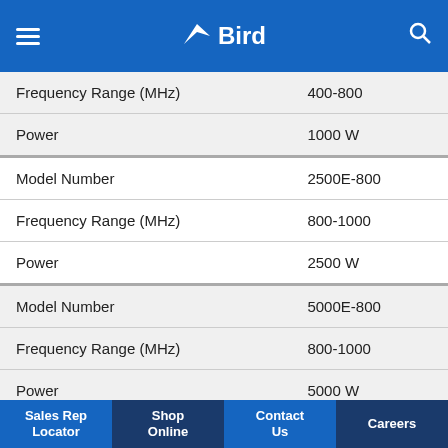Bird
| Frequency Range (MHz) | 400-800 |
| Power | 1000 W |
| Model Number | 2500E-800 |
| Frequency Range (MHz) | 800-1000 |
| Power | 2500 W |
| Model Number | 5000E-800 |
| Frequency Range (MHz) | 800-1000 |
| Power | 5000 W |
| Model Number | 1000E-800 |
Sales Rep Locator | Shop Online | Contact Us | Careers